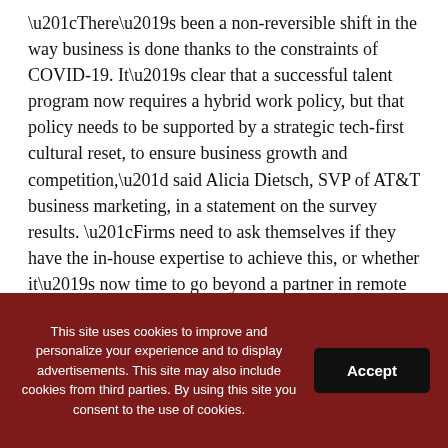“There’s been a non-reversible shift in the way business is done thanks to the constraints of COVID-19. It’s clear that a successful talent program now requires a hybrid work policy, but that policy needs to be supported by a strategic tech-first cultural reset, to ensure business growth and competition,” said Alicia Dietsch, SVP of AT&T business marketing, in a statement on the survey results. “Firms need to ask themselves if they have the in-house expertise to achieve this, or whether it’s now time to go beyond a partner in remote infrastructure rollout to a partner in tech-first remote business strategy.”
Leading from that, Steve McGovern, CEO of Dubber, described how his company’s “conversational intelligence”
This site uses cookies to improve and personalize your experience and to display advertisements. This site may also include cookies from third parties. By using this site you consent to the use of cookies.